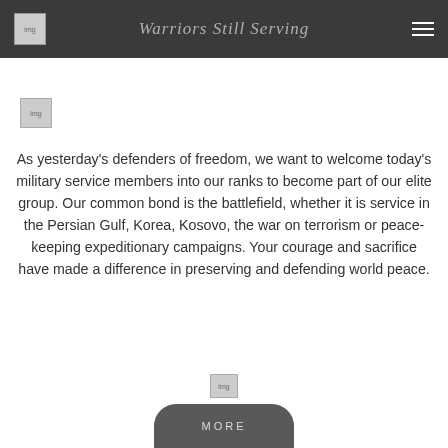Warriors Still Serving
[Figure (logo): Small logo image in top navigation bar]
[Figure (logo): Small logo image below header]
As yesterday’s defenders of freedom, we want to welcome today’s military service members into our ranks to become part of our elite group.  Our common bond is the battlefield, whether it is service in the Persian Gulf, Korea, Kosovo, the war on terrorism or peace-keeping expeditionary campaigns. Your courage and sacrifice have made a difference in preserving and defending world peace.
[Figure (logo): Small decorative image below main text]
MORE